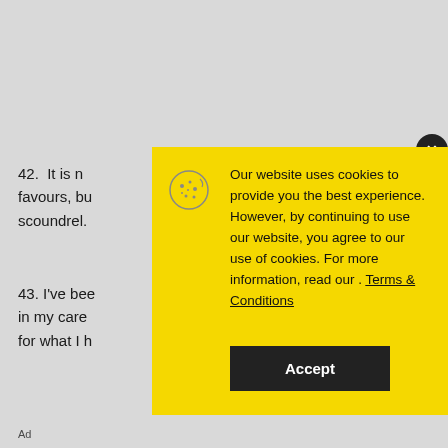42.  It is n
favours, bu
scoundrel.
43. I've bee
in my care
for what I h
No compatible source was found for this media.
[Figure (screenshot): Cookie consent popup overlay on a webpage with yellow background. Contains cookie icon, text about website cookie usage, Terms & Conditions link, and an Accept button. A close (X) button is in the top-right corner.]
Ad